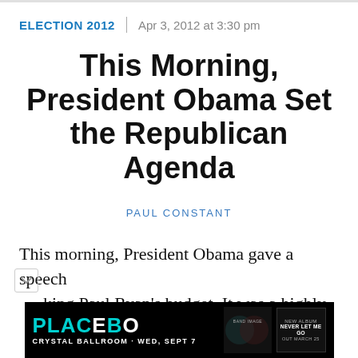ELECTION 2012 | Apr 3, 2012 at 3:30 pm
This Morning, President Obama Set the Republican Agenda
PAUL CONSTANT
This morning, President Obama gave a speech …king Paul Ryan’s budget. It was a highly
[Figure (other): Advertisement banner for Placebo concert at Crystal Ballroom, Wed Sept 7. New album Never Let Me Go out March 25.]